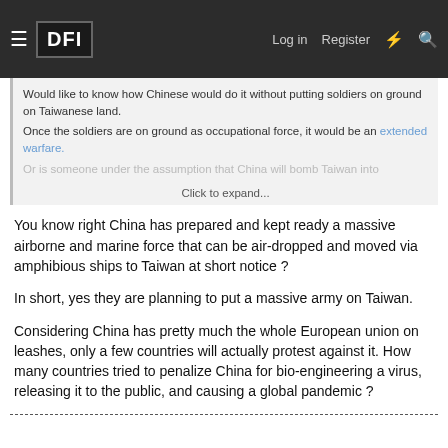DFI | Log in | Register
Would like to know how Chinese would do it without putting soldiers on ground on Taiwanese land.
Once the soldiers are on ground as occupational force, it would be an extended warfare.
Or is someone under the assumption that China will bomb Taiwan into...
Click to expand...
You know right China has prepared and kept ready a massive airborne and marine force that can be air-dropped and moved via amphibious ships to Taiwan at short notice ?
In short, yes they are planning to put a massive army on Taiwan.
Considering China has pretty much the whole European union on leashes, only a few countries will actually protest against it. How many countries tried to penalize China for bio-engineering a virus, releasing it to the public, and causing a global pandemic ?